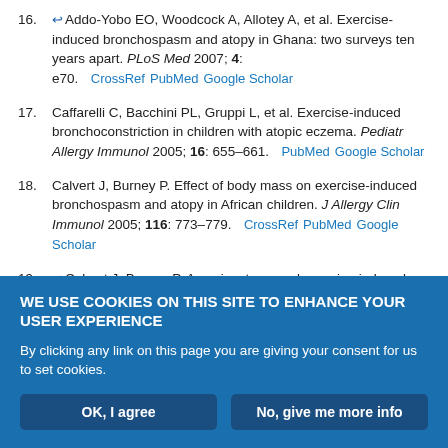16. ↩Addo-Yobo EO, Woodcock A, Allotey A, et al. Exercise-induced bronchospasm and atopy in Ghana: two surveys ten years apart. PLoS Med 2007; 4: e70. CrossRef PubMed Google Scholar
17. Caffarelli C, Bacchini PL, Gruppi L, et al. Exercise-induced bronchoconstriction in children with atopic eczema. Pediatr Allergy Immunol 2005; 16: 655–661. PubMed Google Scholar
18. Calvert J, Burney P. Effect of body mass on exercise-induced bronchospasm and atopy in African children. J Allergy Clin Immunol 2005; 116: 773–779. CrossRef PubMed Google Scholar
19. ↩Calvert J, Burney P. Ascaris, atopy, and exercise-induced bronchoconstriction in rural and urban South African children. J Allergy...
WE USE COOKIES ON THIS SITE TO ENHANCE YOUR USER EXPERIENCE
By clicking any link on this page you are giving your consent for us to set cookies.